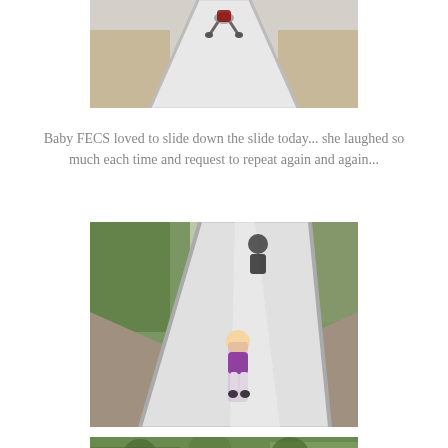[Figure (photo): Child sliding down a long silver playground slide, viewed from bottom up, surrounded by sandy ground]
Baby FECS loved to slide down the slide today... she laughed so much each time and request to repeat again and again...
[Figure (photo): Child in purple top sliding down a large silver playground slide surrounded by trees, adult visible at top]
She also tried sliding down on her back...
[Figure (photo): Another photo of playground slide area with trees, partially visible at bottom of page]